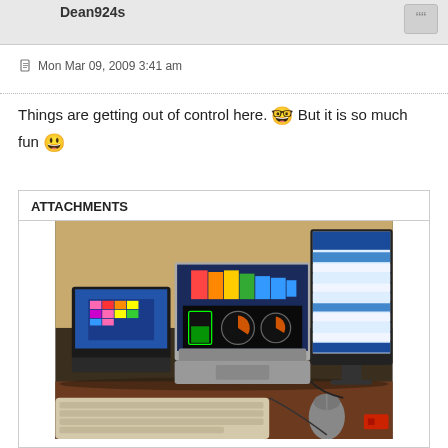Dean924s
Mon Mar 09, 2009 3:41 am
Things are getting out of control here. 😲 But it is so much fun 😀
ATTACHMENTS
[Figure (photo): Photo of a computer desk setup with three monitors/laptops: a small netbook on the left showing a colorful grid display, a laptop in the center with a colorful spectrum display and dashboard gauges, and a large external monitor on the right showing a blue/white application window. A keyboard and mouse are visible in the foreground on a wooden desk.]